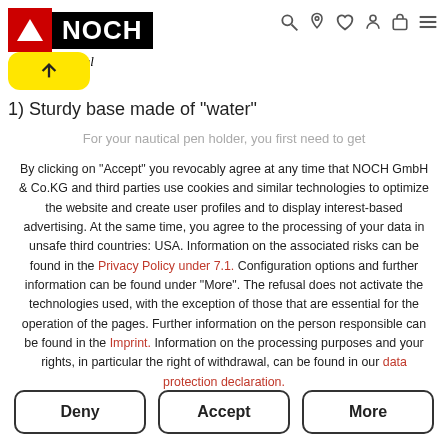NOCH original — navigation header with logo and icons
[Figure (screenshot): Yellow back/upload button with upward arrow]
1) Sturdy base made of "water"
For your nautical pen holder, you first need to get
By clicking on "Accept" you revocably agree at any time that NOCH GmbH & Co.KG and third parties use cookies and similar technologies to optimize the website and create user profiles and to display interest-based advertising. At the same time, you agree to the processing of your data in unsafe third countries: USA. Information on the associated risks can be found in the Privacy Policy under 7.1. Configuration options and further information can be found under "More". The refusal does not activate the technologies used, with the exception of those that are essential for the operation of the pages. Further information on the person responsible can be found in the Imprint. Information on the processing purposes and your rights, in particular the right of withdrawal, can be found in our data protection declaration.
Deny | Accept | More